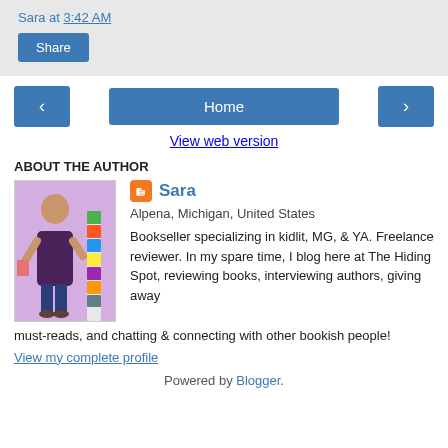Sara at 3:42 AM
Share
‹  Home  ›
View web version
ABOUT THE AUTHOR
[Figure (photo): Photo of Sara, a woman standing next to a tall stack of colorful books]
Sara
Alpena, Michigan, United States
Bookseller specializing in kidlit, MG, & YA. Freelance reviewer. In my spare time, I blog here at The Hiding Spot, reviewing books, interviewing authors, giving away must-reads, and chatting & connecting with other bookish people!
View my complete profile
Powered by Blogger.